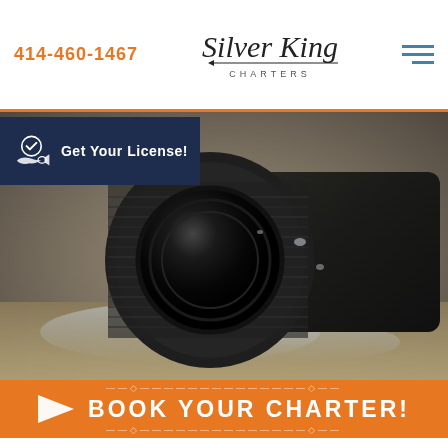414-460-1467  Silver King Charters
Get Your License!
[Figure (photo): Close-up photo of a DSLR camera with a large zoom lens resting on wet rocks with water splashing around it]
BOOK YOUR CHARTER!